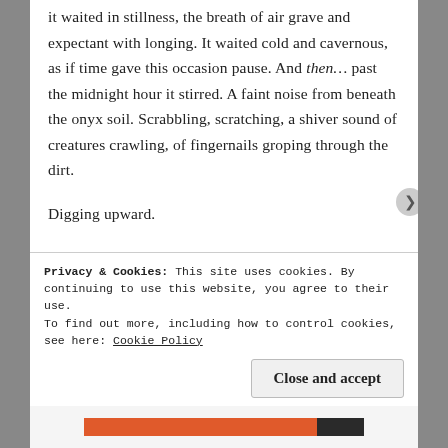it waited in stillness, the breath of air grave and expectant with longing. It waited cold and cavernous, as if time gave this occasion pause. And then… past the midnight hour it stirred. A faint noise from beneath the onyx soil. Scrabbling, scratching, a shiver sound of creatures crawling, of fingernails groping through the dirt.
Digging upward.
The ground trembled, softly, gently, as if a lover's touch caressed it. The wind sighed, dancing among
Privacy & Cookies: This site uses cookies. By continuing to use this website, you agree to their use.
To find out more, including how to control cookies, see here: Cookie Policy
Close and accept